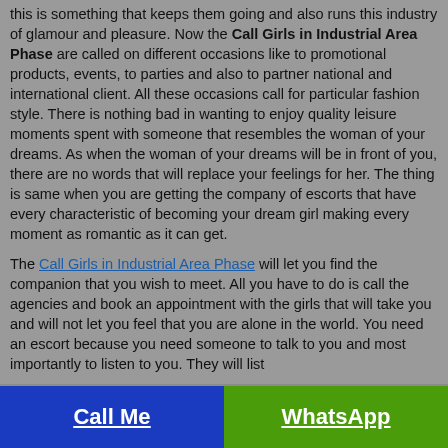this is something that keeps them going and also runs this industry of glamour and pleasure. Now the Call Girls in Industrial Area Phase are called on different occasions like to promotional products, events, to parties and also to partner national and international client. All these occasions call for particular fashion style. There is nothing bad in wanting to enjoy quality leisure moments spent with someone that resembles the woman of your dreams. As when the woman of your dreams will be in front of you, there are no words that will replace your feelings for her. The thing is same when you are getting the company of escorts that have every characteristic of becoming your dream girl making every moment as romantic as it can get.

The Call Girls in Industrial Area Phase will let you find the companion that you wish to meet. All you have to do is call the agencies and book an appointment with the girls that will take you and will not let you feel that you are alone in the world. You need an escort because you need someone to talk to you and most importantly to listen to you. They will listen to you, they will help and they will give you a chance to...
Call Me   WhatsApp